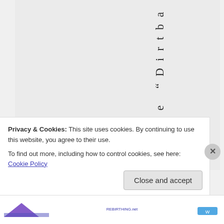the "Dirtba
Privacy & Cookies: This site uses cookies. By continuing to use this website, you agree to their use.
To find out more, including how to control cookies, see here: Cookie Policy
Close and accept